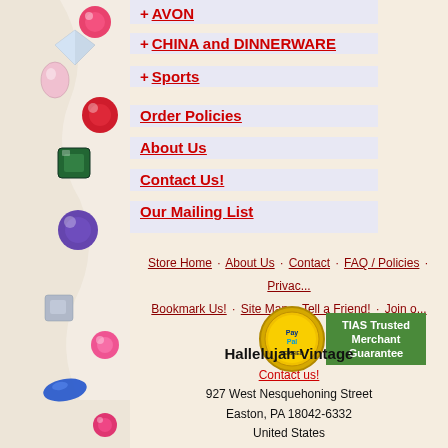[Figure (illustration): Decorative left border with colorful gemstones on a white fabric background — includes red, pink, blue, green, purple, and clear crystal gems of various shapes (round, teardrop, square, marquise).]
+ AVON
+ CHINA and DINNERWARE
+ Sports
Order Policies
About Us
Contact Us!
Our Mailing List
Store Home · About Us · Contact · FAQ / Policies · Privacy · Bookmark Us! · Site Map · Tell a Friend! · Join o...
[Figure (logo): PayPal Verified badge (gold seal) and TIAS Trusted Merchant Guarantee badge (green rectangle).]
Hallelujah Vintage
Contact us!
927 West Nesquehoning Street
Easton, PA 18042-6332
United States